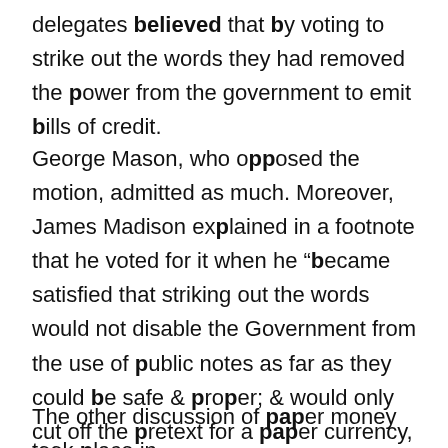delegates believed that by voting to strike out the words they had removed the power from the government to emit bills of credit.
George Mason, who opposed the motion, admitted as much. Moreover, James Madison explained in a footnote that he voted for it when he "became satisfied that striking out the words would not disable the Government from the use of public notes as far as they could be safe & proper; & would only cut off the pretext for a paper currency, and particularly for making the bills a tender for public or private debts."[13]
The other discussion of paper money took place in